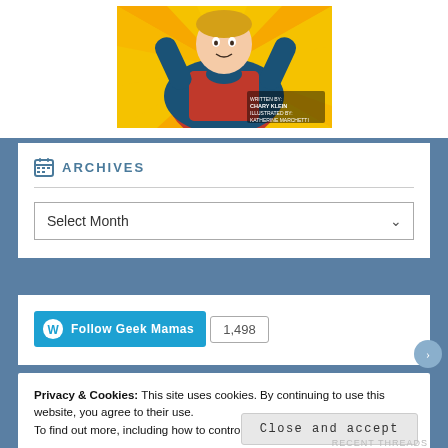[Figure (illustration): Comic book style illustration of a woman in red and blue superhero outfit with arms raised, yellow starburst background. Text reads 'Written by Chary Klein, Illustrated by: Katherine Marchetti']
ARCHIVES
Select Month
Follow Geek Mamas 1,498
Privacy & Cookies: This site uses cookies. By continuing to use this website, you agree to their use.
To find out more, including how to control cookies, see here: Cookie Policy
Close and accept